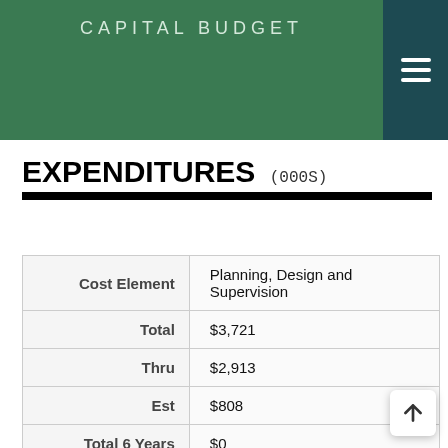CAPITAL BUDGET
EXPENDITURES (000S)
| Cost Element | Planning, Design and Supervision |
| --- | --- |
| Total | $3,721 |
| Thru | $2,913 |
| Est | $808 |
| Total 6 Years | $0 |
| FY22 |  |